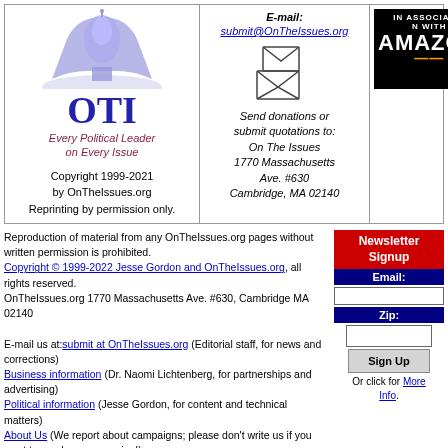[Figure (logo): OTI logo with dome illustration and tagline 'Every Political Leader on Every Issue']
Copyright 1999-2021 by OnTheIssues.org Reprinting by permission only.
E-mail: submit@OnTheIssues.org
[Figure (illustration): Envelope icons for donations]
Send donations or submit quotations to: On The Issues 1770 Massachusetts Ave. #630 Cambridge, MA 02140
[Figure (logo): Amazon 'In Association With' logo]
Reproduction of material from any OnTheIssues.org pages without written permission is prohibited.
Copyright © 1999-2022 Jesse Gordon and OnTheIssues.org, all rights reserved.
OnTheIssues.org 1770 Massachusetts Ave. #630, Cambridge MA 02140
E-mail us at: submit at OnTheIssues.org (Editorial staff, for news and corrections)
Business information (Dr. Naomi Lichtenberg, for partnerships and advertising)
Political information (Jesse Gordon, for content and technical matters)
About Us (We report about campaigns; please don't write us if you want to reach any campaign!)
Newsletter Signup Email: Zip: Sign Up Or click for More Info.
Page last updated: Apr 04, 2021